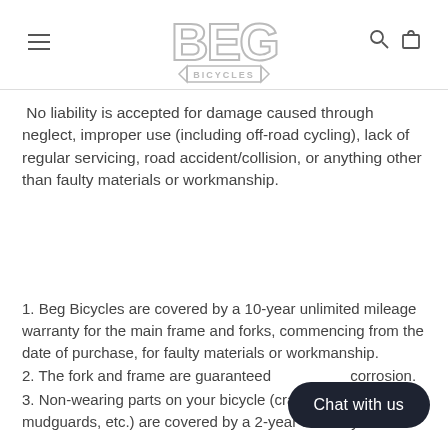BEG BICYCLES
No liability is accepted for damage caused through neglect, improper use (including off-road cycling), lack of regular servicing, road accident/collision, or anything other than faulty materials or workmanship.
1. Beg Bicycles are covered by a 10-year unlimited mileage warranty for the main frame and forks, commencing from the date of purchase, for faulty materials or workmanship.
2. The fork and frame are guaranteed [against] corrosion.
3. Non-wearing parts on your bicycle (crank arms, mudguards, etc.) are covered by a 2-year warranty